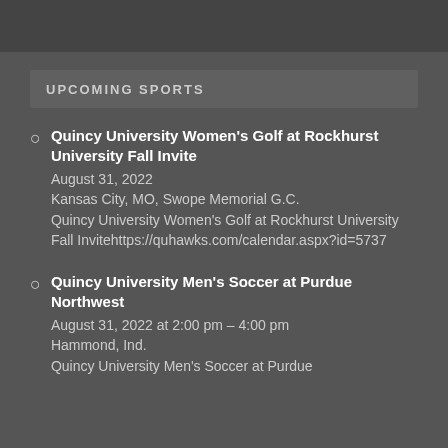UPCOMING SPORTS
Quincy University Women's Golf at Rockhurst University Fall Invite
August 31, 2022
Kansas City, MO, Swope Memorial G.C.
Quincy University Women's Golf at Rockhurst University Fall Invitehttps://quhawks.com/calendar.aspx?id=5737
Quincy University Men's Soccer at Purdue Northwest
August 31, 2022 at 2:00 pm – 4:00 pm
Hammond, Ind.
Quincy University Men's Soccer at Purdue